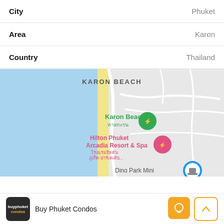City   Phuket
Area   Karon
Country   Thailand
[Figure (map): Google Maps screenshot showing Karon Beach area in Phuket, Thailand. Features include Karon Beach label with Thai text (หาดกะรน) and a green map pin, Hilton Phuket Arcadia Resort & Spa with a pink map pin and Thai text (โรงแรมฮิลตัน ภูเก็ต อาร์เคเดีย...), Dino Park Mini label, and a blue circle icon. Left portion shows blue ocean, right portion shows grey land/road map.]
Buy Phuket Condos